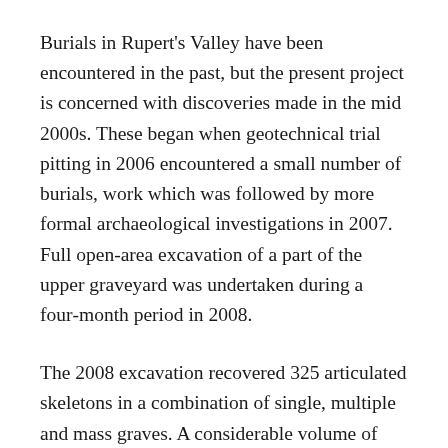Burials in Rupert's Valley have been encountered in the past, but the present project is concerned with discoveries made in the mid 2000s. These began when geotechnical trial pitting in 2006 encountered a small number of burials, work which was followed by more formal archaeological investigations in 2007. Full open-area excavation of a part of the upper graveyard was undertaken during a four-month period in 2008.
The 2008 excavation recovered 325 articulated skeletons in a combination of single, multiple and mass graves. A considerable volume of disarticulated human bone from a series of discrete pits was also present. Over 100 registered individual or group small finds were recovered, including coins, iron and copper